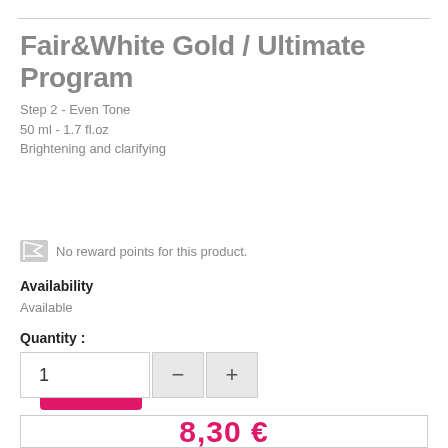Fair&White Gold / Ultimate Program
Step 2 - Even Tone
50 ml - 1.7 fl.oz
Brightening and clarifying
MORE DETAILS
No reward points for this product.
Availability
Available
Quantity :
1
8,30 €